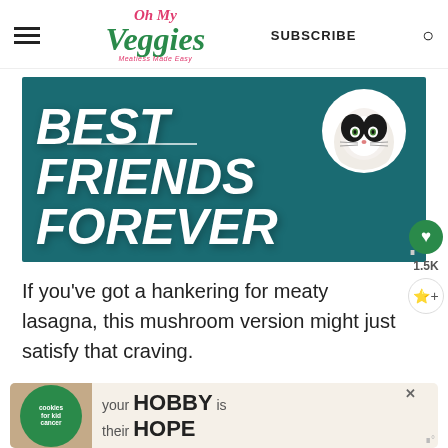Oh My Veggies — Meatless Made Easy | SUBSCRIBE
[Figure (illustration): Banner image with teal background showing 'BEST FRIENDS FOREVER' in bold white italic text and a cat face in a circular white frame in the top right corner]
If you've got a hankering for meaty lasagna, this mushroom version might just satisfy that craving.
[Figure (infographic): Advertisement banner: cookies for kid cancer — 'your HOBBY is their HOPE']